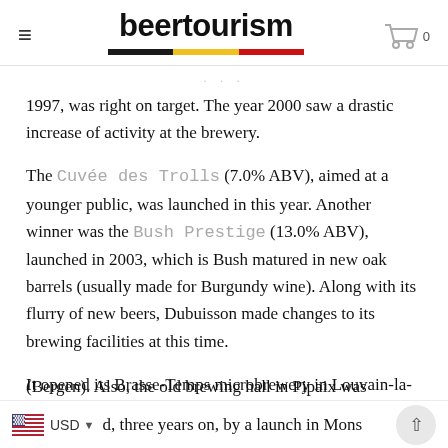beertourism
1997, was right on target. The year 2000 saw a drastic increase of activity at the brewery.
The Cuvée des Trolls (7.0% ABV), aimed at a younger public, was launched in this year. Another winner was the Bush Prestige (13.0% ABV), launched in 2003, which is Bush matured in new oak barrels (usually made for Burgundy wine). Along with its flurry of new beers, Dubuisson made changes to its brewing brewing facilities at this time.
It opened its Brasse-Temps microbrewery in Louvain-la-Neuve, followed, three years on, by a launch in Mons (Bergen). Also, the old brewing hall in Pipaix was